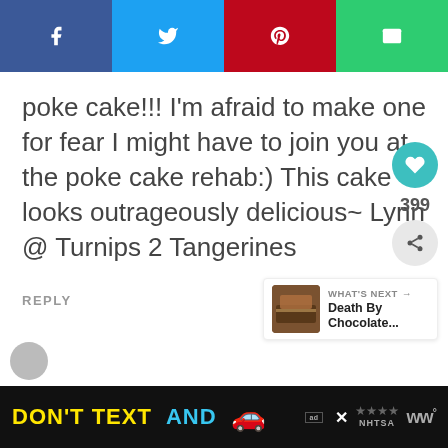[Figure (other): Social sharing bar with Facebook (dark blue), Twitter (light blue), Pinterest (red), and Email (green) buttons with white icons]
poke cake!!! I'm afraid to make one for fear I might have to join you at the poke cake rehab:) This cake looks outrageously delicious~ Lynn @ Turnips 2 Tangerines
REPLY
[Figure (other): Heart/like button showing 399 likes and a share button]
[Figure (other): What's Next widget showing Death By Chocolate... with a thumbnail image]
[Figure (other): DON'T TEXT AND [car emoji] NHTSA advertisement banner at bottom of page]